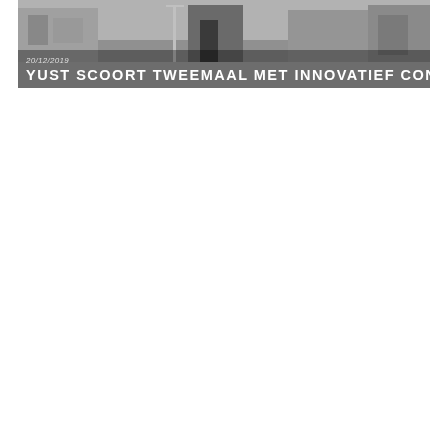[Figure (photo): Black and white / grayscale photograph of a building or street scene with text overlay showing date 20/12/2019 and headline 'YUST SCOORT TWEEMAAL MET INNOVATIEF CONCEPT']